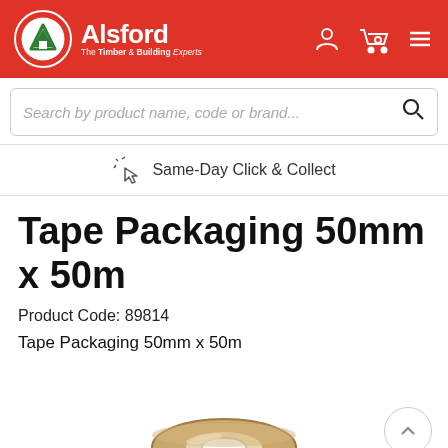Alsford – The Timber & Building Experts
Search by product name, code or brand...
Same-Day Click & Collect
Tape Packaging 50mm x 50m
Product Code: 89814
Tape Packaging 50mm x 50m
[Figure (photo): Partial image of a roll of clear/brown packaging tape, shown from above at a slight angle, with a cardboard core visible.]